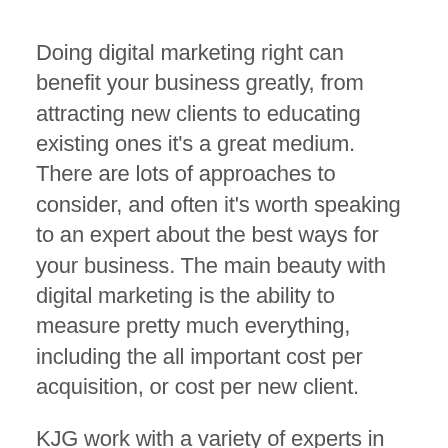Doing digital marketing right can benefit your business greatly, from attracting new clients to educating existing ones it's a great medium. There are lots of approaches to consider, and often it's worth speaking to an expert about the best ways for your business. The main beauty with digital marketing is the ability to measure pretty much everything, including the all important cost per acquisition, or cost per new client.
KJG work with a variety of experts in the digital marketing industry and we're always happy to introduce you to them, just drop us an email to info@kjgllp.com and we'll do the